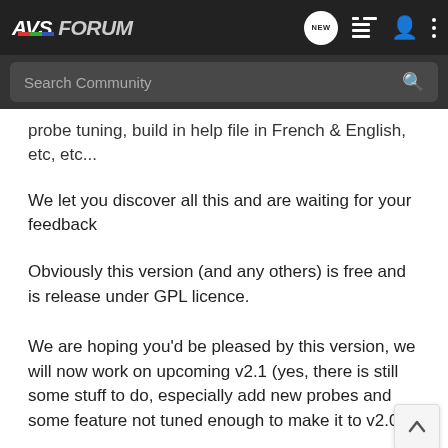AVS FORUM
probe tuning, build in help file in French & English, etc, etc...
We let you discover all this and are waiting for your feedback
Obviously this version (and any others) is free and is release under GPL licence.
We are hoping you'd be pleased by this version, we will now work on upcoming v2.1 (yes, there is still some stuff to do, especially add new probes and some feature not tuned enough to make it to v2.0)